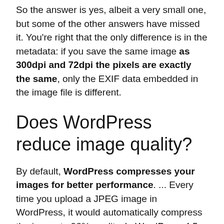So the answer is yes, albeit a very small one, but some of the other answers have missed it. You're right that the only difference is in the metadata: if you save the same image as 300dpi and 72dpi the pixels are exactly the same, only the EXIF data embedded in the image file is different.
Does WordPress reduce image quality?
By default, WordPress compresses your images for better performance. ... Every time you upload a JPEG image in WordPress, it would automatically compress the image to 90% quality. In WordPress 4.5, this number was further decreased to 82% to improve site performance for mobile users.